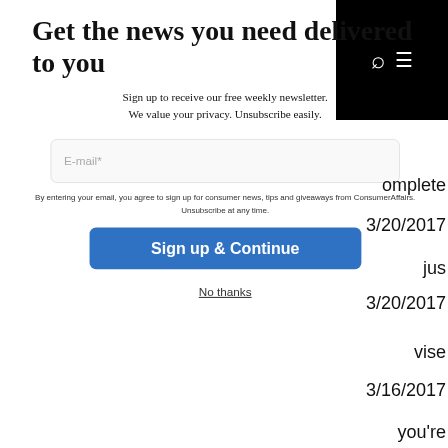Get the news you need delivered to you
Sign up to receive our free weekly newsletter. We value your privacy. Unsubscribe easily.
E-mail*
By entering your email, you agree to sign up for consumer news, tips and giveaways from ConsumerAffairs. Unsubscribe at any time.
Sign up & Continue
No thanks
omplete
3/20/2017
jus
3/20/2017
vise
3/16/2017
you're